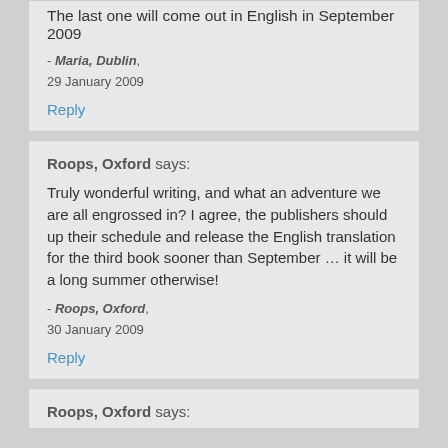The last one will come out in English in September 2009
- Maria, Dublin,
29 January 2009
Reply
Roops, Oxford says:
Truly wonderful writing, and what an adventure we are all engrossed in? I agree, the publishers should up their schedule and release the English translation for the third book sooner than September … it will be a long summer otherwise!
- Roops, Oxford,
30 January 2009
Reply
Roops, Oxford says: